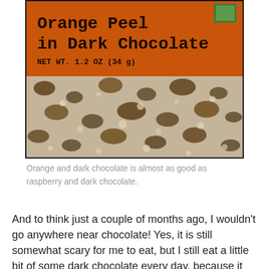[Figure (photo): Photo of an orange Chocolove chocolate bar packaging showing 'Orange Peel in Dark Chocolate' text and NET WT. 1.2 OZ (34 g), with the lower half showing a textured dark chocolate surface with visible pieces.]
Orange and dark chocolate is almost as good as raspberry and dark chocolate.
And to think just a couple of months ago, I wouldn't go anywhere near chocolate! Yes, it is still somewhat scary for me to eat, but I still eat a little bit of some dark chocolate every day, because it makes me happy. When I discovered this mini Chocolove bar at Whole Foods, my dad encouraged me to get it so I